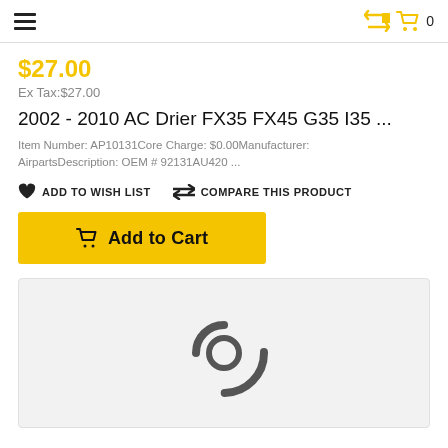☰  🛒 0
$27.00
Ex Tax:$27.00
2002 - 2010 AC Drier FX35 FX45 G35 I35 ...
Item Number: AP10131Core Charge: $0.00Manufacturer: AirpartsDescription: OEM # 92131AU420 ...
ADD TO WISH LIST   COMPARE THIS PRODUCT
Add to Cart
[Figure (photo): Product image placeholder with a circular refresh/loading icon on a light gray background]